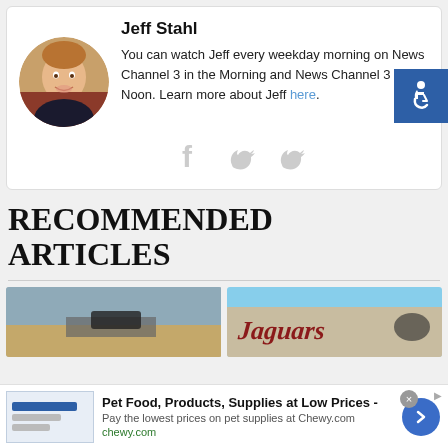Jeff Stahl
You can watch Jeff every weekday morning on News Channel 3 in the Morning and News Channel 3 at Noon. Learn more about Jeff here.
[Figure (illustration): Social media icons: Facebook and two Twitter bird icons in light gray]
[Figure (illustration): Accessibility icon (wheelchair symbol) on blue background button]
RECOMMENDED ARTICLES
[Figure (photo): Aerial or road-level photo showing desert landscape with vehicles]
[Figure (photo): Photo of a building with 'Jaguars' text on wall]
Pet Food, Products, Supplies at Low Prices -
Pay the lowest prices on pet supplies at Chewy.com
chewy.com